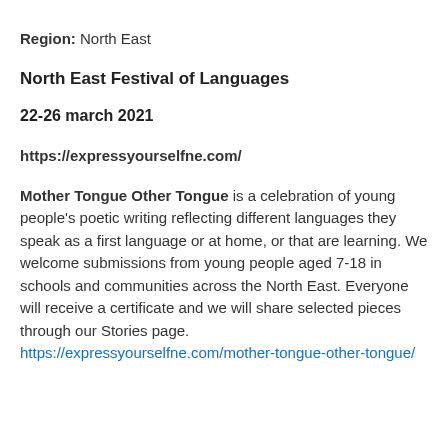Region: North East
North East Festival of Languages
22-26 march 2021
https://expressyourselfne.com/
Mother Tongue Other Tongue is a celebration of young people's poetic writing reflecting different languages they speak as a first language or at home, or that are learning. We welcome submissions from young people aged 7-18 in schools and communities across the North East. Everyone will receive a certificate and we will share selected pieces through our Stories page.  https://expressyourselfne.com/mother-tongue-other-tongue/